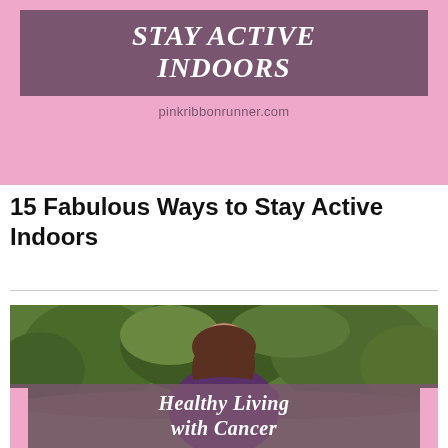[Figure (infographic): Pink and purple banner with text 'STAY ACTIVE INDOORS' in white bold italic letters on a purple/mauve background, surrounded by pink border. URL 'pinkribbonrunner.com' shown below in purple text on pink background.]
15 Fabulous Ways to Stay Active Indoors
[Figure (photo): Woman in purple top standing outdoors with eyes closed, green trees and bushes in background. Overlay text at bottom reads 'Healthy Living with Cancer' on a semi-transparent purple/mauve bar with pink side bars.]